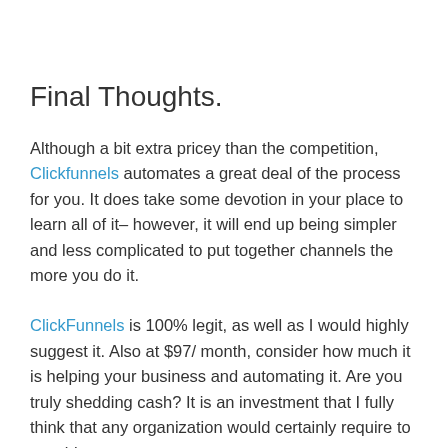Final Thoughts.
Although a bit extra pricey than the competition, Clickfunnels automates a great deal of the process for you. It does take some devotion in your place to learn all of it– however, it will end up being simpler and less complicated to put together channels the more you do it.
ClickFunnels is 100% legit, as well as I would highly suggest it. Also at $97/ month, consider how much it is helping your business and automating it. Are you truly shedding cash? It is an investment that I fully think that any organization would certainly require to consider.